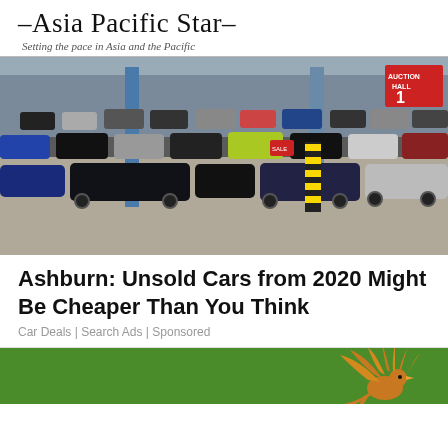–Asia Pacific Star– Setting the pace in Asia and the Pacific
[Figure (photo): Indoor car auction hall packed with hundreds of cars arranged in dense rows, including black, silver, blue, green, and red cars. Blue structural pillars visible. Signs in background including 'AUCTION HALL 1'.]
Ashburn: Unsold Cars from 2020 Might Be Cheaper Than You Think
Car Deals | Search Ads | Sponsored
[Figure (other): Green banner with orange/gold bird illustration on the right side, partially visible.]